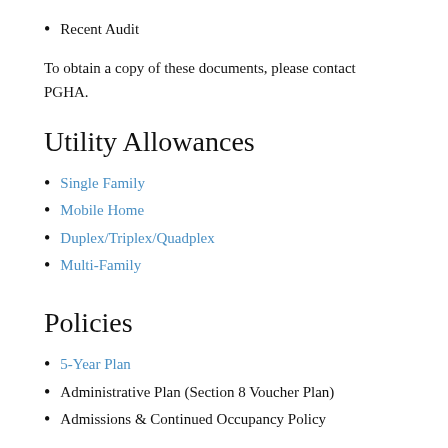Recent Audit
To obtain a copy of these documents, please contact PGHA.
Utility Allowances
Single Family
Mobile Home
Duplex/Triplex/Quadplex
Multi-Family
Policies
5-Year Plan
Administrative Plan (Section 8 Voucher Plan)
Admissions & Continued Occupancy Policy